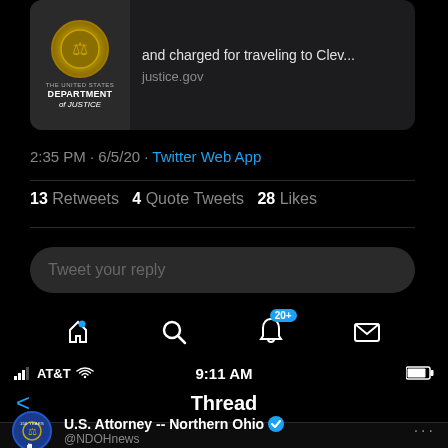[Figure (screenshot): Twitter dark mode screenshot showing bottom of a tweet: DOJ link card with 'and charged for traveling to Clev...' and justice.gov URL. Timestamp 2:35 PM · 6/5/20 · Twitter Web App. Stats: 13 Retweets, 4 Quote Tweets, 28 Likes. Tweet reply input box. Bottom navigation bar with home, search, notifications (20+), messages icons.]
2:35 PM · 6/5/20 · Twitter Web App
13 Retweets   4 Quote Tweets   28 Likes
Tweet your reply
[Figure (screenshot): Second Twitter screenshot: status bar showing AT&T, Wi-Fi, 9:11 AM, battery. Thread header with back arrow. Beginning of tweet from U.S. Attorney -- Northern Ohio @NDOHnews with verified badge.]
AT&T  9:11 AM
Thread
U.S. Attorney -- Northern Ohio @NDOHnews